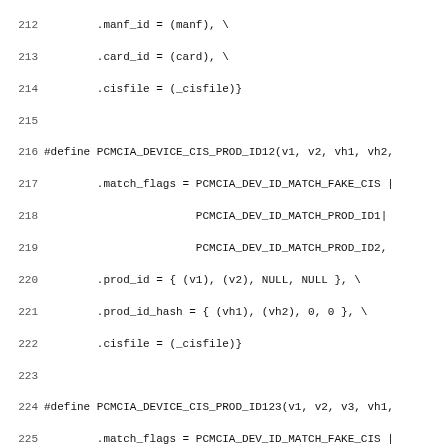Source code listing lines 212-243 showing PCMCIA device CIS product ID macro definitions in C